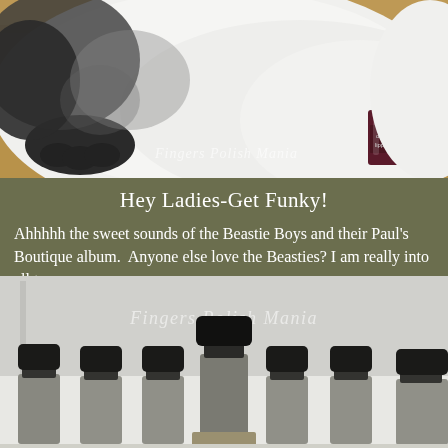[Figure (photo): A cat's paw and fluffy white fur next to a small dark red Deborah Lippmann nail polish bottle on a wooden floor.]
Hey Ladies-Get Funky!
Ahhhhh the sweet sounds of the Beastie Boys and their Paul's Boutique album.  Anyone else love the Beasties? I am really into all types ...
[Figure (photo): Several nail polish bottles with black caps arranged in a row on a white shelf, viewed from below, with a watermark reading 'Fingers Polish Mania'.]